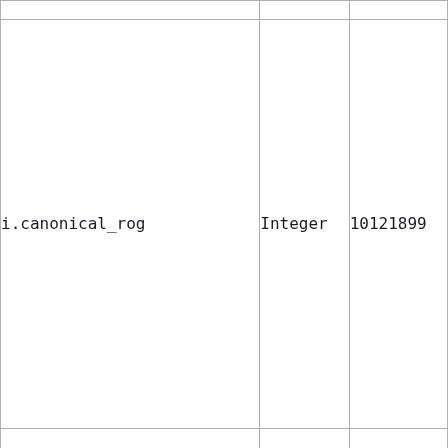|  |  |  |
| --- | --- | --- |
|  |  |  |
| i.canonical_rog | Integer | 10121899 |
|  |  |  |